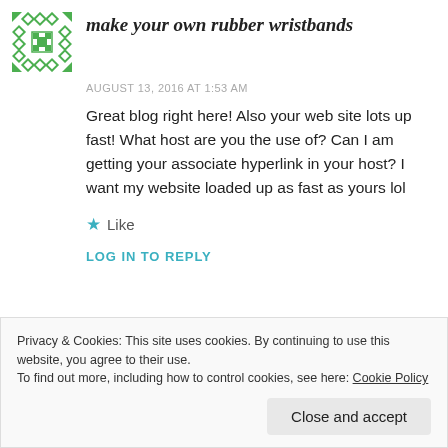make your own rubber wristbands
AUGUST 13, 2016 AT 1:53 AM
Great blog right here! Also your web site lots up fast! What host are you the use of? Can I am getting your associate hyperlink in your host? I want my website loaded up as fast as yours lol
Like
LOG IN TO REPLY
Privacy & Cookies: This site uses cookies. By continuing to use this website, you agree to their use.
To find out more, including how to control cookies, see here: Cookie Policy
Close and accept